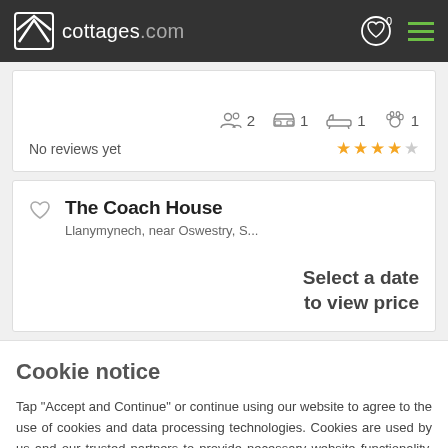cottages.com
2  1  1  1
No reviews yet  ★★★★☆
The Coach House
Llanymynech, near Oswestry, S...
Select a date
to view price
Cookie notice
Tap "Accept and Continue" or continue using our website to agree to the use of cookies and data processing technologies. Cookies are used by us and our trusted partners to provide necessary website functionality, analyse, personalise and enhance your experience on this website as well as to deliver tailored holiday-related ads on other websites.
Accept and Continue